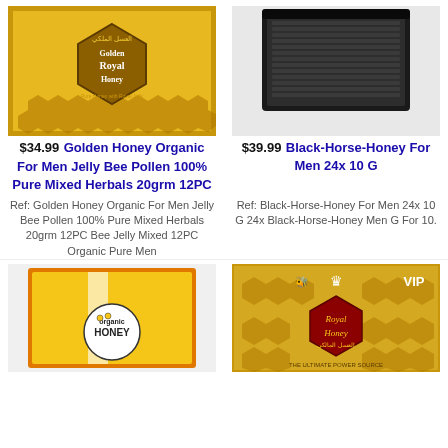[Figure (photo): Golden Royal Honey product box, gold/yellow packaging with honeycomb design]
$34.99   Golden Honey Organic For Men Jelly Bee Pollen 100% Pure Mixed Herbals 20grm 12PC
Ref: Golden Honey Organic For Men Jelly Bee Pollen 100% Pure Mixed Herbals 20grm 12PC Bee Jelly Mixed 12PC Organic Pure Men
[Figure (photo): Black-Horse-Honey product in dark box packaging]
$39.99   Black-Horse-Honey For Men 24x 10 G
Ref: Black-Horse-Honey For Men 24x 10 G 24x Black-Horse-Honey Men G For 10.
[Figure (photo): Organic Honey product box, yellow/orange packaging with circular label]
[Figure (photo): VIP Royal Honey product, gold packaging with honeycomb design and crown logo]